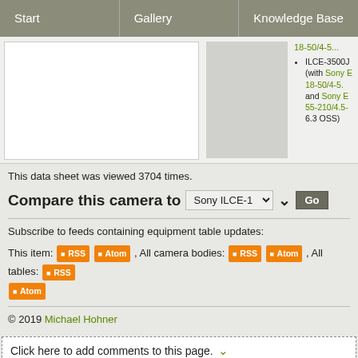Start | Gallery | Knowledge Base
[Figure (screenshot): Camera image (white background) on the left; gray product image on right; bullet list with ILCE-3500J text and Sony E 18-50/4-5.6 and Sony E 55-210/4.5-6.3 OSS links on far right]
This data sheet was viewed 3704 times.
Compare this camera to Sony ILCE-1 [dropdown] Go
Subscribe to feeds containing equipment table updates:
This item: RSS Atom, All camera bodies: RSS Atom, All tables: RSS Atom
© 2019 Michael Hohner
Click here to add comments to this page.